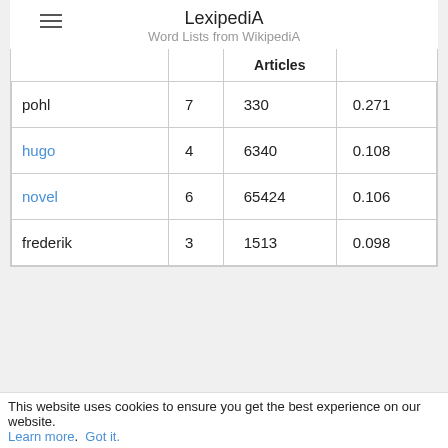LexipediA
Word Lists from WikipediA
|  |  | Articles |  |
| --- | --- | --- | --- |
| pohl | 7 | 330 | 0.271 |
| hugo | 4 | 6340 | 0.108 |
| novel | 6 | 65424 | 0.106 |
| frederik | 3 | 1513 | 0.098 |
This website uses cookies to ensure you get the best experience on our website. Learn more. Got it.